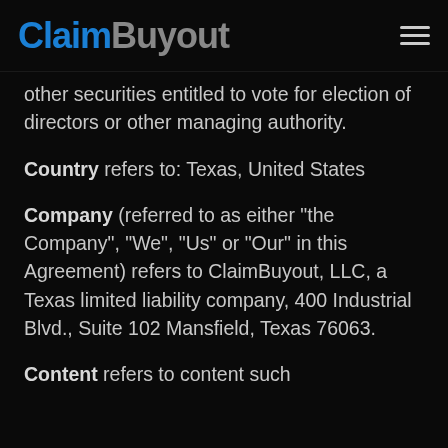ClaimBuyout
other securities entitled to vote for election of directors or other managing authority.
Country refers to: Texas, United States
Company (referred to as either "the Company", "We", "Us" or "Our" in this Agreement) refers to ClaimBuyout, LLC, a Texas limited liability company, 400 Industrial Blvd., Suite 102 Mansfield, Texas 76063.
Content refers to content such